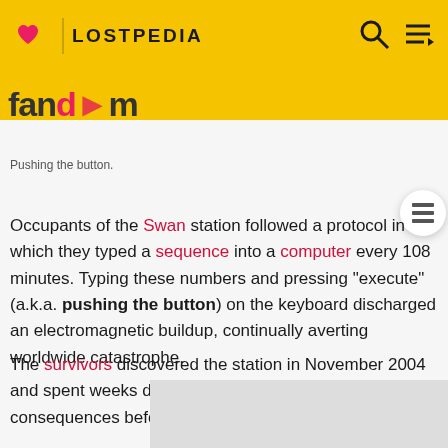LOSTPEDIA
Pushing the button.
Occupants of the Swan station followed a protocol in which they typed a sequence into a computer every 108 minutes. Typing these numbers and pressing "execute" (a.k.a. pushing the button) on the keyboard discharged an electromagnetic buildup, continually averting worldwide catastrophe.
The survivors discovered the station in November 2004 and spent weeks debating the protocol's meaning and consequences before the station was destroyed.
[Figure (photo): Partial image at bottom of page (grey placeholder)]